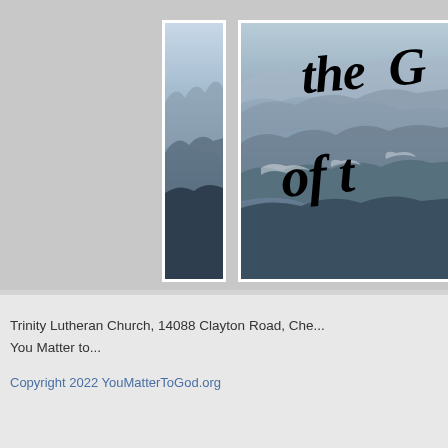[Figure (photo): Two cropped mountain landscape photos side by side on a gray background. Left panel is a narrow vertical strip showing layered mountain ridges. Right panel is a wider view of misty blue mountain ranges with cursive black script text overlay reading 'the G' and 'of t' (partially visible, cropped at right edge).]
Trinity Lutheran Church, 14088 Clayton Road, Che... You Matter to...
Copyright 2022 YouMatterToGod.org